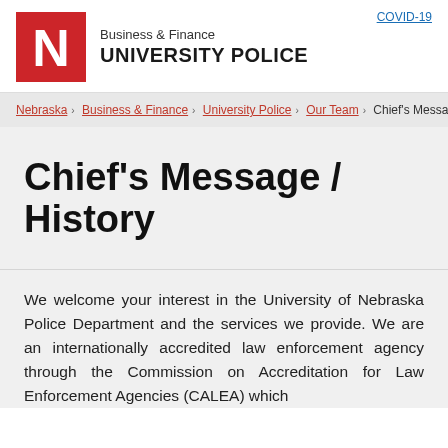Business & Finance UNIVERSITY POLICE
Nebraska › Business & Finance › University Police › Our Team › Chief's Message
Chief's Message / History
We welcome your interest in the University of Nebraska Police Department and the services we provide. We are an internationally accredited law enforcement agency through the Commission on Accreditation for Law Enforcement Agencies (CALEA) which